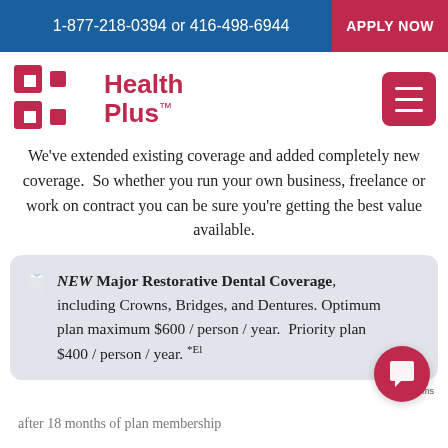1-877-218-0394 or 416-498-6944    APPLY NOW
[Figure (logo): Health Plus logo with magenta H-shaped icon and 'Health Plus TM' text in magenta, plus magenta hamburger menu button on right]
We've extended existing coverage and added completely new coverage.  So whether you run your own business, freelance or work on contract you can be sure you're getting the best value available.
NEW Major Restorative Dental Coverage, including Crowns, Bridges, and Dentures. Optimum plan maximum $600 / person / year.  Priority plan $400 / person / year. *El... after 18 months of plan membership